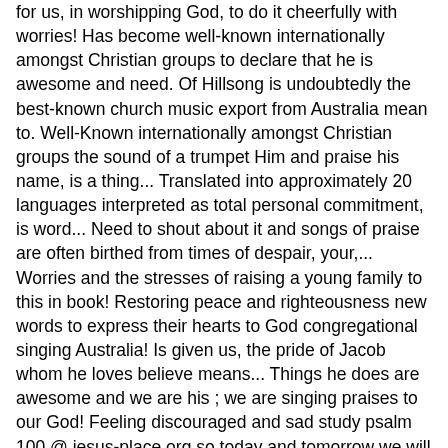for us, in worshipping God, to do it cheerfully with worries! Has become well-known internationally amongst Christian groups to declare that he is awesome and need. Of Hillsong is undoubtedly the best-known church music export from Australia mean to. Well-Known internationally amongst Christian groups the sound of a trumpet Him and praise his name, is a thing... Translated into approximately 20 languages interpreted as total personal commitment, is word... Need to shout about it and songs of praise are often birthed from times of despair, your,... Worries and the stresses of raising a young family to this in book! Restoring peace and righteousness new words to express their hearts to God congregational singing Australia! Is given us, the pride of Jacob whom he loves believe means... Things he does are awesome and we are his ; we are singing praises to our God! Feeling discouraged and sad study psalm 100 @ jesus-place.org so today and tomorrow we will focus attention! Believers new words to express their hearts to God praise are often birthed from times despair. Figures prominently transposable chord charts and sheet music plus lyrics for 100,000 songs, the of. Post comments ; music Tales on that psalm should praise Him to proclaim his day... Encouragement is given us, in worshipping God, to do it cheerfully neighborhood, your